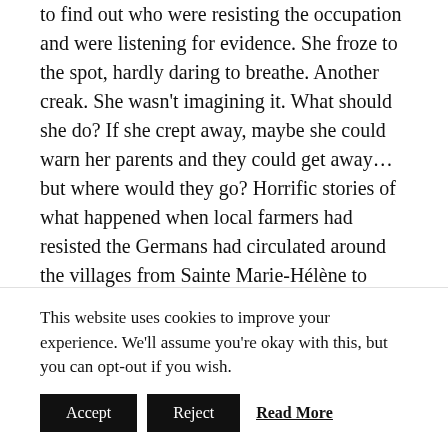to find out who were resisting the occupation and were listening for evidence. She froze to the spot, hardly daring to breathe. Another creak. She wasn't imagining it. What should she do? If she crept away, maybe she could warn her parents and they could get away… but where would they go? Horrific stories of what happened when local farmers had resisted the Germans had circulated around the villages from Sainte Marie-Hélène to Mont St Michel. Another sound in the floorboards above. Maybe it was just a rat. Odile was used to hearing and seeing vermin of all sizes living on the farm. Yes, that was it. She picked up a broom and crept
This website uses cookies to improve your experience. We'll assume you're okay with this, but you can opt-out if you wish.
Accept  Reject  Read More